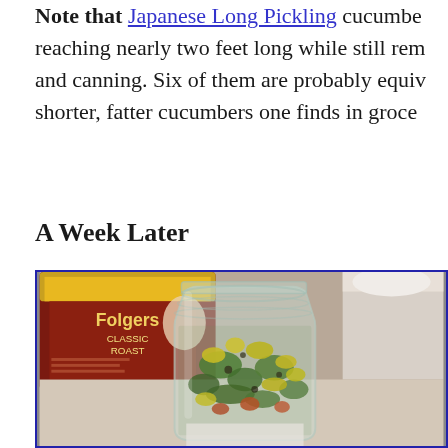Note that Japanese Long Pickling cucumbers reaching nearly two feet long while still rem... and canning. Six of them are probably equiv... shorter, fatter cucumbers one finds in groce...
A Week Later
[Figure (photo): A glass mason jar filled with pickled vegetables (green, yellow, orange pieces) with a red Folgers Classic Roast coffee can and a white container blurred in the background on a table.]